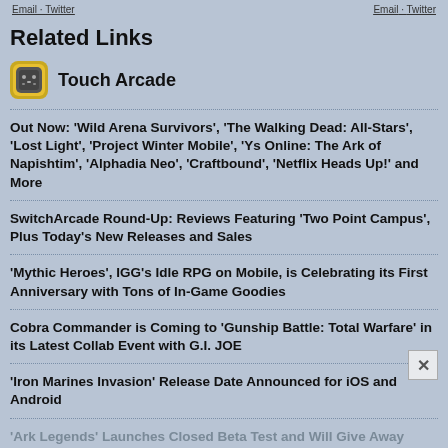Email · Twitter   Email · Twitter
Related Links
[Figure (logo): Touch Arcade app icon — yellow and gray game controller emoji style icon]
Touch Arcade
Out Now: 'Wild Arena Survivors', 'The Walking Dead: All-Stars', 'Lost Light', 'Project Winter Mobile', 'Ys Online: The Ark of Napishtim', 'Alphadia Neo', 'Craftbound', 'Netflix Heads Up!' and More
SwitchArcade Round-Up: Reviews Featuring 'Two Point Campus', Plus Today's New Releases and Sales
'Mythic Heroes', IGG's Idle RPG on Mobile, is Celebrating its First Anniversary with Tons of In-Game Goodies
Cobra Commander is Coming to 'Gunship Battle: Total Warfare' in its Latest Collab Event with G.I. JOE
'Iron Marines Invasion' Release Date Announced for iOS and Android
'Ark Legends' Launches Closed Beta Test and Will Give Away Airpods and More During Pre-Registration Draw